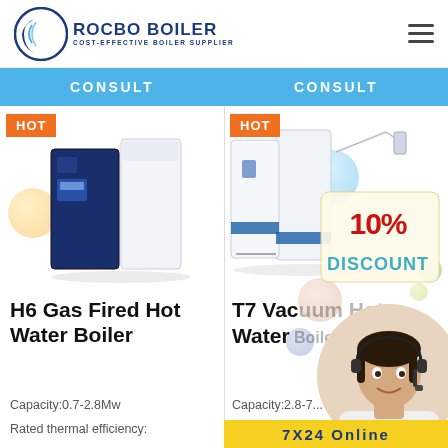[Figure (logo): Rocbo Boiler logo — circular emblem with crescent and text 'ROCBO BOILER / COST-EFFECTIVE BOILER SUPPLIER']
[Figure (photo): H6 Gas Fired Hot Water Boiler product photo — dark navy and white upright boiler unit with HOT badge and CONSULT button]
H6 Gas Fired Hot Water Boiler
Capacity:0.7-2.8Mw
Rated thermal efficiency:
[Figure (photo): T7 Vacuum Hot Water Boiler product photo with 10% DISCOUNT overlay badge, HOT badge and CONSULT button]
T7 Vacuum Hot Water Boiler (partially visible)
Capacity:2.8-7... (partially visible)
Rated the... (partially visible)
[Figure (photo): Customer service representative with headset — circular portrait overlay]
7X24 Online